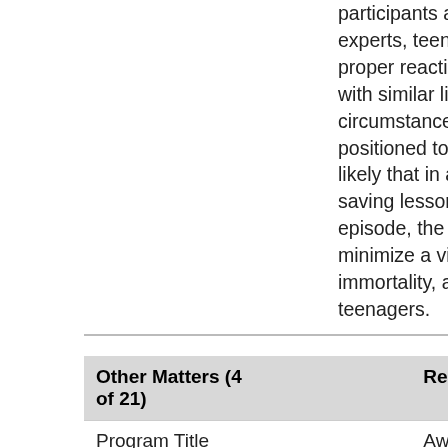participants and instructions from experts, teenagers are shown what the proper reaction should be when faced with similar life-threatening circumstances. This show is perfectly positioned to educate its audience. It is likely that in addition to learning the life saving lessons contained in each episode, the show will also work to minimize a viewer's belief in their immortality, a priceless lesson for all teenagers.
| Other Matters (4 of 21) | Response |
| --- | --- |
| Program Title | Awesome Adventures (4.2) |
| Origination | Network |